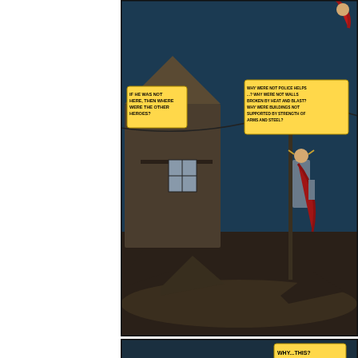[Figure (illustration): Two comic book panels from 'Thor'. Top panel shows Thor (superhero in red cape) walking through a devastated neighborhood with destroyed houses and debris, with speech bubbles reading 'IF HE WAS NOT HERE, THEN WHERE WERE THE OTHER HEROES?' and 'WHY WERE NOT POLICE HELPS... BUILDINGS NOT DEFENDED BY HEAT AND BLAST? WHY WERE BUILDINGS NOT SUPPORTED BY STRENGTH OF ARMS AND STEEL?' Bottom panel shows a close-up of a broken doll lying in flood debris with a speech bubble reading 'WHY...THIS?']
Â
And these few "Thor" panels illustrate a common theme of super that react to real-world disasters: Why didn't the heroes help? W X-Men's Storm help shut down the hurricane? Why didn't Mr. Fa super-scientific know-how to strengthen the levees? Why didn't assist with evacuation? Why didn't government agencies that sp stuff like SHIELD heli-carriers use some of that taxpayer cash to
There's never a good — or at least a credible — reason, mainl